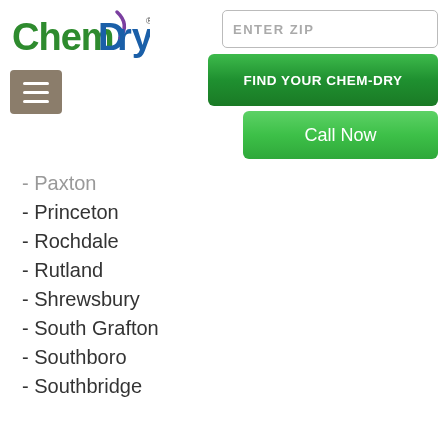[Figure (logo): Chem-Dry logo with green 'Chem' and blue 'Dry' text, purple swoosh accent and registered trademark symbol]
[Figure (screenshot): ENTER ZIP input box, FIND YOUR CHEM-DRY green button, Call Now green button, and hamburger menu button]
- Paxton
- Princeton
- Rochdale
- Rutland
- Shrewsbury
- South Grafton
- Southboro
- Southbridge